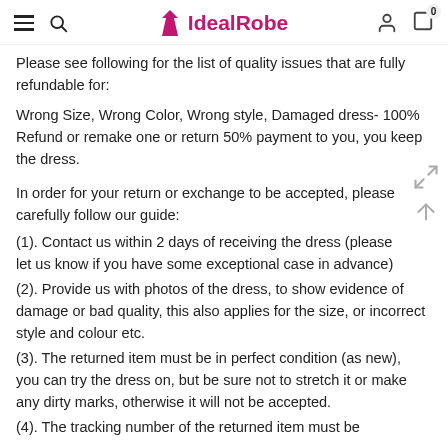IdealRobe — website header with navigation icons
Please see following for the list of quality issues that are fully refundable for:
Wrong Size, Wrong Color, Wrong style, Damaged dress- 100% Refund or remake one or return 50% payment to you, you keep the dress.
In order for your return or exchange to be accepted, please carefully follow our guide:
(1). Contact us within 2 days of receiving the dress (please let us know if you have some exceptional case in advance)
(2). Provide us with photos of the dress, to show evidence of damage or bad quality, this also applies for the size, or incorrect style and colour etc.
(3). The returned item must be in perfect condition (as new), you can try the dress on, but be sure not to stretch it or make any dirty marks, otherwise it will not be accepted.
(4). The tracking number of the returned item must be